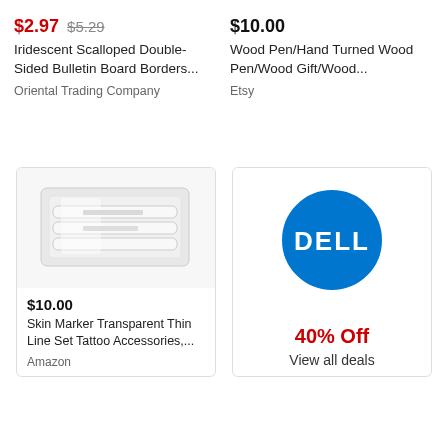$2.97  $5.29
Iridescent Scalloped Double-Sided Bulletin Board Borders...
Oriental Trading Company
$10.00
Wood Pen/Hand Turned Wood Pen/Wood Gift/Wood...
Etsy
[Figure (photo): Packaged transparent skin markers / tattoo accessories in plastic wrap]
$10.00
Skin Marker Transparent Thin Line Set Tattoo Accessories,...
Amazon
[Figure (logo): Dell logo - blue circle with white Dell text and ring]
40% Off
View all deals